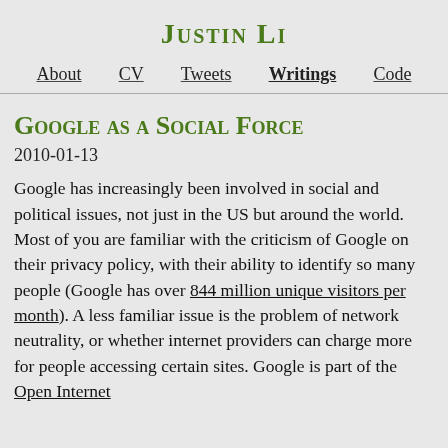Justin Li
About  CV  Tweets  Writings  Code
Google as a Social Force
2010-01-13
Google has increasingly been involved in social and political issues, not just in the US but around the world. Most of you are familiar with the criticism of Google on their privacy policy, with their ability to identify so many people (Google has over 844 million unique visitors per month). A less familiar issue is the problem of network neutrality, or whether internet providers can charge more for people accessing certain sites. Google is part of the Open Internet Coalition, which is against ISP filtering. H…